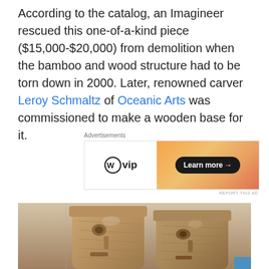According to the catalog, an Imagineer rescued this one-of-a-kind piece ($15,000-$20,000) from demolition when the bamboo and wood structure had to be torn down in 2000. Later, renowned carver Leroy Schmaltz of Oceanic Arts was commissioned to make a wooden base for it.
[Figure (other): WordPress VIP advertisement banner with logo on left and orange gradient on right with 'Learn more' button]
[Figure (photo): Two wooden tiki-style carved face sculptures with exaggerated features, photographed close-up against a light background]